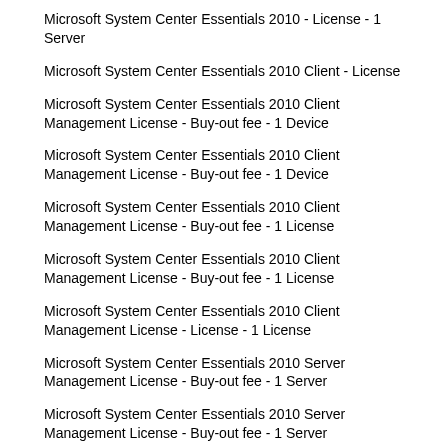Microsoft System Center Essentials 2010 - License - 1 Server
Microsoft System Center Essentials 2010 Client - License
Microsoft System Center Essentials 2010 Client Management License - Buy-out fee - 1 Device
Microsoft System Center Essentials 2010 Client Management License - Buy-out fee - 1 Device
Microsoft System Center Essentials 2010 Client Management License - Buy-out fee - 1 License
Microsoft System Center Essentials 2010 Client Management License - Buy-out fee - 1 License
Microsoft System Center Essentials 2010 Client Management License - License - 1 License
Microsoft System Center Essentials 2010 Server Management License - Buy-out fee - 1 Server
Microsoft System Center Essentials 2010 Server Management License - Buy-out fee - 1 Server
Microsoft System Center Essentials 2010 Server Management License - License - 1 Server